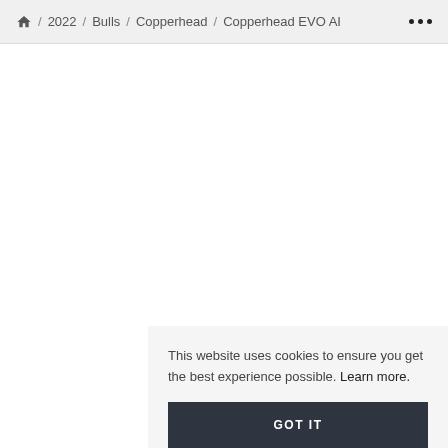🏠 / 2022 / Bulls / Copperhead / Copperhead EVO AI •••
This website uses cookies to ensure you get the best experience possible. Learn more.
GOT IT